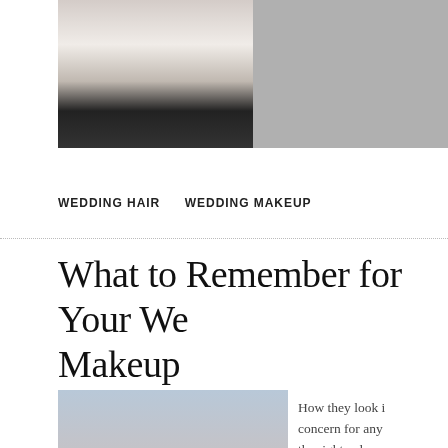[Figure (photo): Two side-by-side photos of women with dark outfits, top portion of a wedding hair/makeup article]
WEDDING HAIR   WEDDING MAKEUP
What to Remember for Your We… Makeup
[Figure (photo): Bride with elegant updo hairstyle and jeweled hair accessory, wearing off-shoulder dress]
How they look is a concern for any… the right color o… use will definite… impact on your w… makeup. The fou… should agree wi… tone of your ski… that the found…